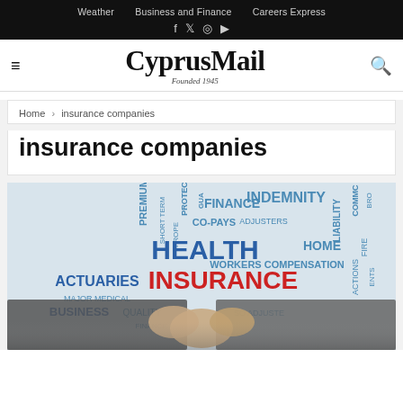Weather   Business and Finance   Careers Express
CyprusMail — Founded 1945
Home › insurance companies
insurance companies
[Figure (photo): Word cloud related to insurance terms (HEALTH, INSURANCE, HOME, INDEMNITY, CO-PAYS, ACTUARIES, FINANCE, PREMIUM, WORKERS COMPENSATION, etc.) with two businessmen shaking hands in foreground.]